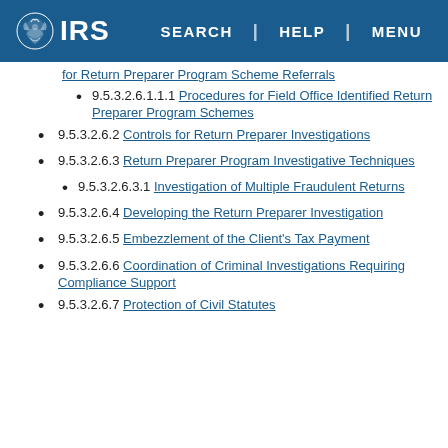IRS | SEARCH | HELP | MENU
for Return Preparer Program Scheme Referrals
9.5.3.2.6.1.1.1 Procedures for Field Office Identified Return Preparer Program Schemes
9.5.3.2.6.2 Controls for Return Preparer Investigations
9.5.3.2.6.3 Return Preparer Program Investigative Techniques
9.5.3.2.6.3.1 Investigation of Multiple Fraudulent Returns
9.5.3.2.6.4 Developing the Return Preparer Investigation
9.5.3.2.6.5 Embezzlement of the Client's Tax Payment
9.5.3.2.6.6 Coordination of Criminal Investigations Requiring Compliance Support
9.5.3.2.6.7 Protection of Civil Statutes